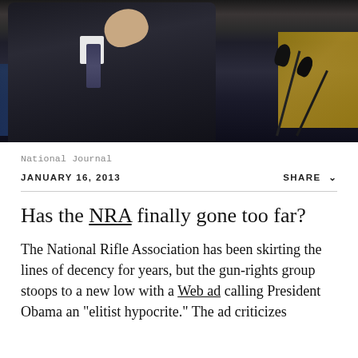[Figure (photo): A man in a dark suit gestures with his fist raised, speaking at a podium with microphones. Background includes gold and blue elements.]
National Journal
JANUARY 16, 2013    SHARE
Has the NRA finally gone too far?
The National Rifle Association has been skirting the lines of decency for years, but the gun-rights group stoops to a new low with a Web ad calling President Obama an "elitist hypocrite." The ad criticizes